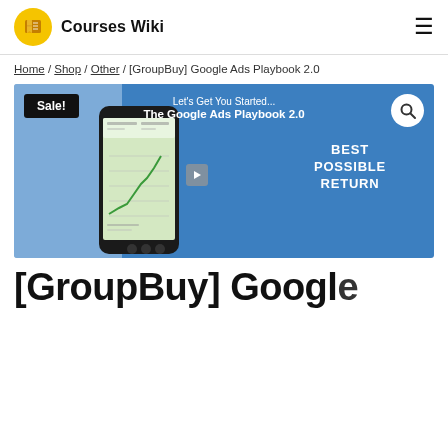Courses Wiki
Home / Shop / Other / [GroupBuy] Google Ads Playbook 2.0
[Figure (screenshot): Product image for Google Ads Playbook 2.0 with a Sale badge, search icon, text 'Let's Get You Started... The Google Ads Playbook 2.0', 'BEST POSSIBLE RETURN', and a phone displaying a trading/analytics chart on a blue background.]
[GroupBuy] Google